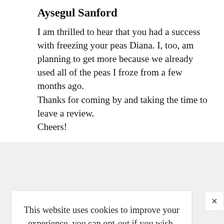Aysegul Sanford
I am thrilled to hear that you had a success with freezing your peas Diana. I, too, am planning to get more because we already used all of the peas I froze from a few months ago.
Thanks for coming by and taking the time to leave a review.
Cheers!
This website uses cookies to improve your experience, you can opt-out if you wish.
ACCEPT   Cookie Settings
Nesha Baker